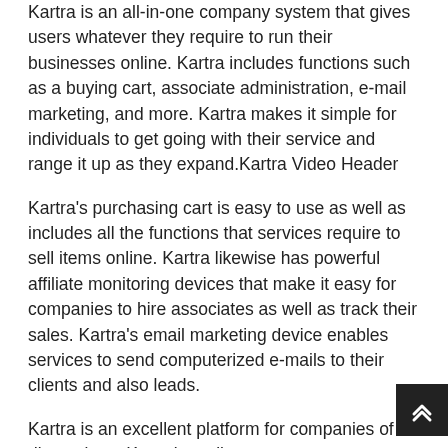Kartra is an all-in-one company system that gives users whatever they require to run their businesses online. Kartra includes functions such as a buying cart, associate administration, e-mail marketing, and more. Kartra makes it simple for individuals to get going with their service and range it up as they expand.Kartra Video Header
Kartra's purchasing cart is easy to use as well as includes all the functions that services require to sell items online. Kartra likewise has powerful affiliate monitoring devices that make it easy for companies to hire associates as well as track their sales. Kartra's email marketing device enables services to send computerized e-mails to their clients and also leads.
Kartra is an excellent platform for companies of all dimensions. Kartra's attributes are easy to use and also Kartra makes it simple for organizations to get started with their on the internet organization. Kartra